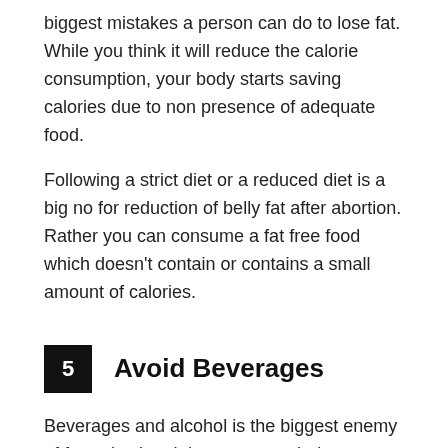biggest mistakes a person can do to lose fat. While you think it will reduce the calorie consumption, your body starts saving calories due to non presence of adequate food.
Following a strict diet or a reduced diet is a big no for reduction of belly fat after abortion. Rather you can consume a fat free food which doesn't contain or contains a small amount of calories.
5  Avoid Beverages
Beverages and alcohol is the biggest enemy of fat reduction. It is recommended, not to consume alcohol after abortion. Processed beverages contain an elevated amount of sugar contents which releases calories in the body resulting to storage of fat.